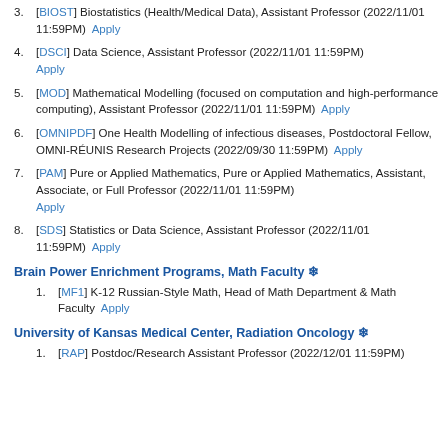3. [BIOST] Biostatistics (Health/Medical Data), Assistant Professor (2022/11/01 11:59PM)  Apply
4. [DSCI] Data Science, Assistant Professor (2022/11/01 11:59PM)  Apply
5. [MOD] Mathematical Modelling (focused on computation and high-performance computing), Assistant Professor (2022/11/01 11:59PM)  Apply
6. [OMNIPDF] One Health Modelling of infectious diseases, Postdoctoral Fellow, OMNI-RÉUNIS Research Projects (2022/09/30 11:59PM)  Apply
7. [PAM] Pure or Applied Mathematics, Pure or Applied Mathematics, Assistant, Associate, or Full Professor (2022/11/01 11:59PM)  Apply
8. [SDS] Statistics or Data Science, Assistant Professor (2022/11/01 11:59PM)  Apply
Brain Power Enrichment Programs, Math Faculty
1. [MF1] K-12 Russian-Style Math, Head of Math Department & Math Faculty  Apply
University of Kansas Medical Center, Radiation Oncology
1. [RAP] Postdoc/Research Assistant Professor (2022/12/01 11:59PM)